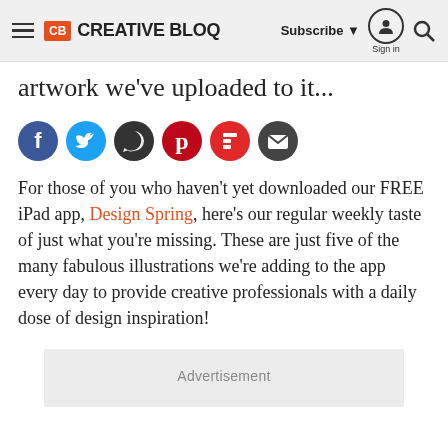CB CREATIVE BLOQ | Subscribe ▼ Sign in 🔍
artwork we've uploaded to it...
[Figure (infographic): Social sharing icons row: Facebook (dark blue), Twitter (light blue), WhatsApp (dark grey), Pinterest (dark red), Flipboard (red), Email (dark grey)]
For those of you who haven't yet downloaded our FREE iPad app, Design Spring, here's our regular weekly taste of just what you're missing. These are just five of the many fabulous illustrations we're adding to the app every day to provide creative professionals with a daily dose of design inspiration!
Advertisement